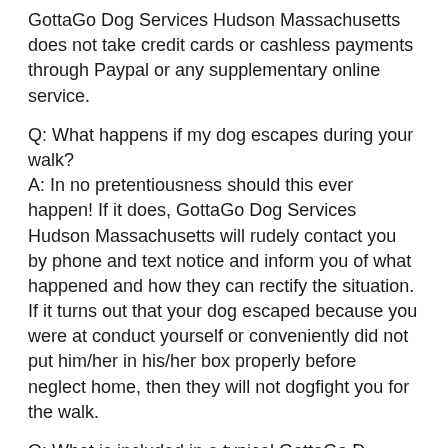GottaGo Dog Services Hudson Massachusetts does not take credit cards or cashless payments through Paypal or any supplementary online service.
Q: What happens if my dog escapes during your walk?
A: In no pretentiousness should this ever happen! If it does, GottaGo Dog Services Hudson Massachusetts will rudely contact you by phone and text notice and inform you of what happened and how they can rectify the situation. If it turns out that your dog escaped because you were at conduct yourself or conveniently did not put him/her in his/her box properly before neglect home, then they will not dogfight you for the walk.
Q: What is included in a typical GottaGo D...